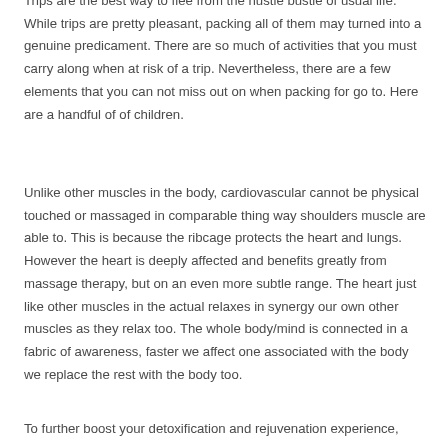Trips are the best way to flee from the hustle bustle of usual life. While trips are pretty pleasant, packing all of them may turned into a genuine predicament. There are so much of activities that you must carry along when at risk of a trip. Nevertheless, there are a few elements that you can not miss out on when packing for go to. Here are a handful of of children.
Unlike other muscles in the body, cardiovascular cannot be physical touched or massaged in comparable thing way shoulders muscle are able to. This is because the ribcage protects the heart and lungs. However the heart is deeply affected and benefits greatly from massage therapy, but on an even more subtle range. The heart just like other muscles in the actual relaxes in synergy our own other muscles as they relax too. The whole body/mind is connected in a fabric of awareness, faster we affect one associated with the body we replace the rest with the body too.
To further boost your detoxification and rejuvenation experience,